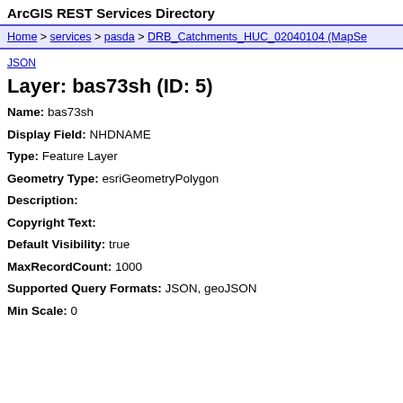ArcGIS REST Services Directory
Home > services > pasda > DRB_Catchments_HUC_02040104 (MapSe...
JSON
Layer: bas73sh (ID: 5)
Name: bas73sh
Display Field: NHDNAME
Type: Feature Layer
Geometry Type: esriGeometryPolygon
Description:
Copyright Text:
Default Visibility: true
MaxRecordCount: 1000
Supported Query Formats: JSON, geoJSON
Min Scale: 0